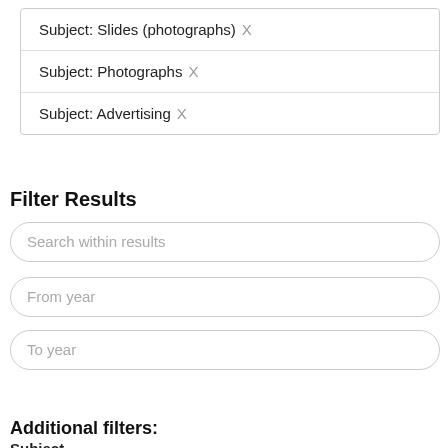Subject: Slides (photographs) X
Subject: Photographs X
Subject: Advertising X
Filter Results
Search within results
From year
To year
Search
Additional filters:
Subject